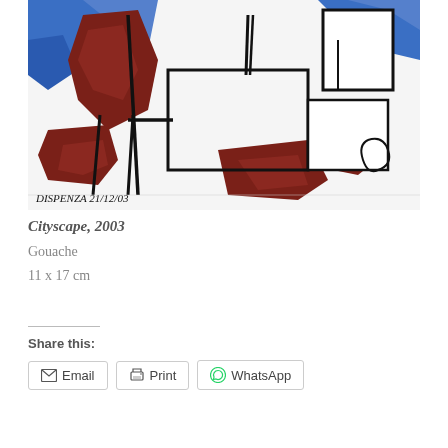[Figure (illustration): A gouache painting of a cityscape showing abstract urban forms with bold black outlines, dark red/brown shapes suggesting buildings and figures, blue areas, on a white background. Signed 'DISPENZA 21/12/03' in the lower left corner.]
Cityscape, 2003
Gouache
11 x 17 cm
Share this:
Email   Print   WhatsApp